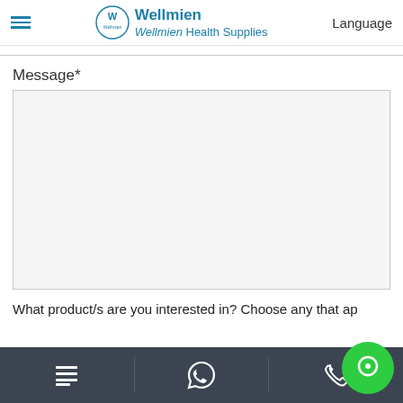Wellmien Health Supplies  Language
Message*
[Figure (screenshot): Empty message textarea input field with light grey background]
What product/s are you interested in? Choose any that ap
[Figure (screenshot): Bottom navigation bar with menu, WhatsApp, and phone icons on dark background, plus green chat bubble overlay]